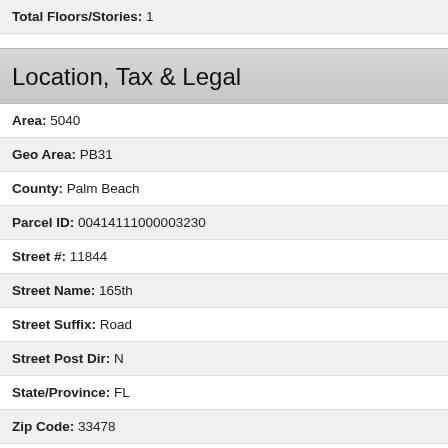Total Floors/Stories: 1
Location, Tax & Legal
Area: 5040
Geo Area: PB31
County: Palm Beach
Parcel ID: 00414111000003230
Street #: 11844
Street Name: 165th
Street Suffix: Road
Street Post Dir: N
State/Province: FL
Zip Code: 33478